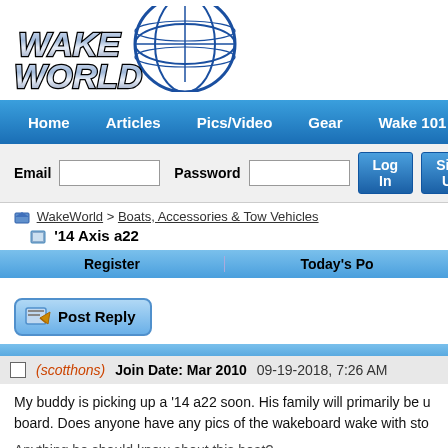[Figure (logo): WakeWorld logo with globe graphic and stylized metallic text]
Home  Articles  Pics/Video  Gear  Wake 101  Ever
Email  Password  Log In  Sign Up
WakeWorld > Boats, Accessories & Tow Vehicles
'14 Axis a22
Register    Today's Po
[Figure (illustration): Post Reply button with pencil/paper icon]
(scotthons)  Join Date: Mar 2010  09-19-2018, 7:26 AM
My buddy is picking up a '14 a22 soon. His family will primarily be u board. Does anyone have any pics of the wakeboard wake with sto
Anything he should know about this boat?